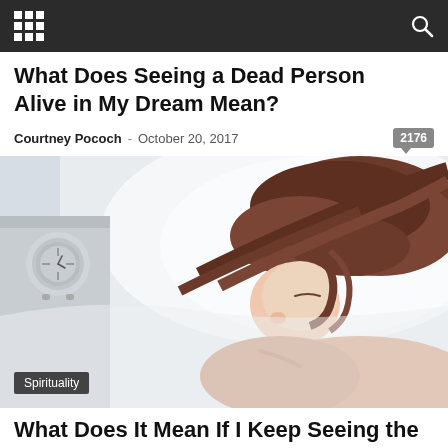[navigation bar with grid icon and search icon]
What Does Seeing a Dead Person Alive in My Dream Mean?
Courtney Pococh - October 20, 2017  2176
[Figure (photo): Woman sleeping on white bed with alarm clock on nightstand, hair spread across pillow]
Spirituality
What Does It Mean If I Keep Seeing the Same Person...